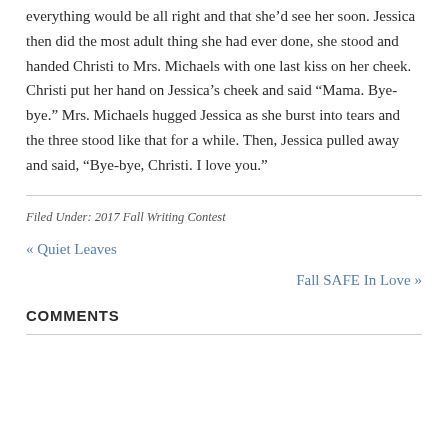everything would be all right and that she’d see her soon. Jessica then did the most adult thing she had ever done, she stood and handed Christi to Mrs. Michaels with one last kiss on her cheek. Christi put her hand on Jessica’s cheek and said “Mama. Bye-bye.” Mrs. Michaels hugged Jessica as she burst into tears and the three stood like that for a while. Then, Jessica pulled away and said, “Bye-bye, Christi. I love you.”
Filed Under: 2017 Fall Writing Contest
« Quiet Leaves
Fall SAFE In Love »
COMMENTS